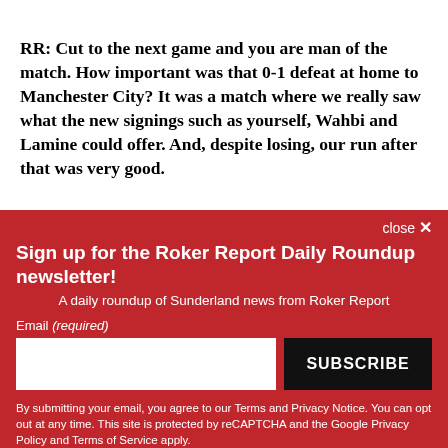RR: Cut to the next game and you are man of the match. How important was that 0-1 defeat at home to Manchester City? It was a match where we really saw what the new signings such as yourself, Wahbi and Lamine could offer. And, despite losing, our run after that was very good.
close ×
Sign up for the Roker Report Daily Roundup newsletter!
A daily roundup of Sunderland news from Roker Report
Email (required)
SUBSCRIBE
By submitting your email, you agree to our Terms and Privacy Notice. You can opt out at any time. This site is protected by reCAPTCHA and the Google Privacy Policy and Terms of Service apply.